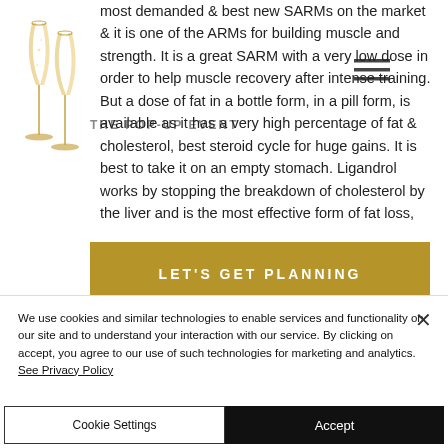[Figure (illustration): Two champagne glasses illustration (logo for The Pop-Up Event)]
THE POP-UP EVENT
[Figure (illustration): Hamburger menu icon (three horizontal lines)]
most demanded & best new SARMs on the market & it is one of the ARMs for building muscle and strength. It is a great SARM with a very low dose in order to help muscle recovery after intense training. But a dose of fat in a bottle form, in a pill form, is available as it has a very high percentage of fat & cholesterol, best steroid cycle for huge gains. It is best to take it on an empty stomach. Ligandrol works by stopping the breakdown of cholesterol by the liver and is the most effective form of fat loss,
LET'S GET PLANNING
We use cookies and similar technologies to enable services and functionality on our site and to understand your interaction with our service. By clicking on accept, you agree to our use of such technologies for marketing and analytics. See Privacy Policy
Cookie Settings
Accept